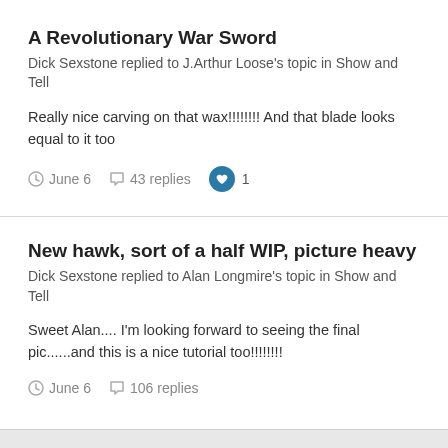A Revolutionary War Sword
Dick Sexstone replied to J.Arthur Loose's topic in Show and Tell
Really nice carving on that wax!!!!!!!!  And that blade looks equal to it too
June 6   43 replies   1
New hawk, sort of a half WIP, picture heavy
Dick Sexstone replied to Alan Longmire's topic in Show and Tell
Sweet Alan.... I'm looking forward to seeing the final pic......and this is a nice tutorial too!!!!!!!!
June 6   106 replies